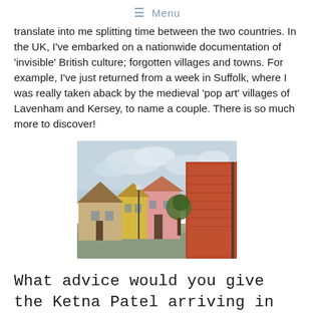≡ Menu
translate into me splitting time between the two countries. In the UK, I've embarked on a nationwide documentation of 'invisible' British culture; forgotten villages and towns. For example, I've just returned from a week in Suffolk, where I was really taken aback by the medieval 'pop art' villages of Lavenham and Kersey, to name a couple. There is so much more to discover!
[Figure (photo): Photo of colorful medieval village buildings including thatched and tiled rooftops, pink and pastel-colored cottages, and a large red-brick building, under a cloudy sky — likely Lavenham or Kersey in Suffolk, UK.]
What advice would you give the Ketna Patel arriving in Singapore all those years ago?